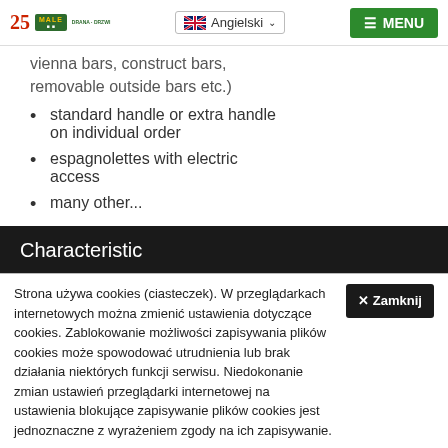25 MALE [logo] | Angielski | MENU
vienna bars, construct bars, removable outside bars etc.)
standard handle or extra handle on individual order
espagnolettes with electric access
many other...
Characteristic
Strona używa cookies (ciasteczek). W przeglądarkach internetowych można zmienić ustawienia dotyczące cookies. Zablokowanie możliwości zapisywania plików cookies może spowodować utrudnienia lub brak działania niektórych funkcji serwisu. Niedokonanie zmian ustawień przeglądarki internetowej na ustawienia blokujące zapisywanie plików cookies jest jednoznaczne z wyrażeniem zgody na ich zapisywanie.